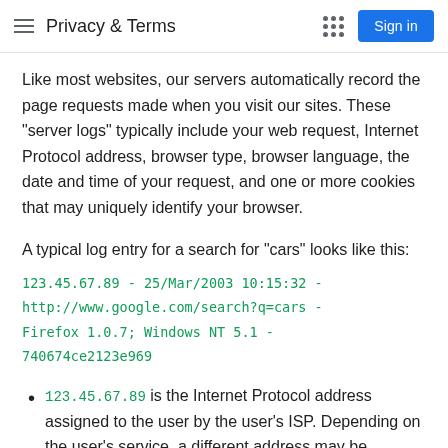Privacy & Terms
Like most websites, our servers automatically record the page requests made when you visit our sites. These “server logs” typically include your web request, Internet Protocol address, browser type, browser language, the date and time of your request, and one or more cookies that may uniquely identify your browser.
A typical log entry for a search for “cars” looks like this:
123.45.67.89 - 25/Mar/2003 10:15:32 -
http://www.google.com/search?q=cars -
Firefox 1.0.7; Windows NT 5.1 -
740674ce2123e969
123.45.67.89 is the Internet Protocol address assigned to the user by the user’s ISP. Depending on the user’s service, a different address may be assigned to the user by their service provider each time they connect to the Internet.